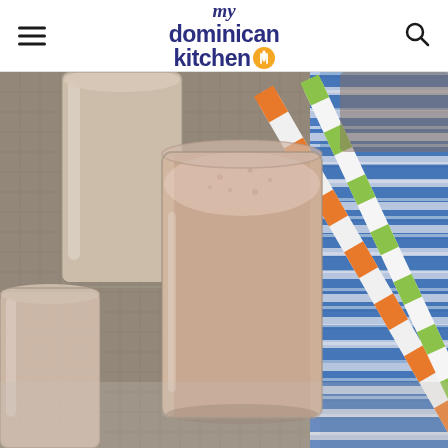my dominican kitchen
[Figure (photo): Three glasses filled with a creamy beige/light brown smoothie drink on a burlap mat, with colorful paper straws (orange/white and green/white striped) and a blue striped cloth napkin in the background]